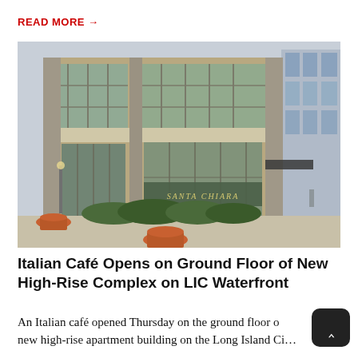READ MORE →
[Figure (photo): Exterior photo of a modern high-rise building with large glass windows and signage reading 'SANTA CHIARA' on the ground floor, with terracotta planters and hedges in front, urban street view]
Italian Café Opens on Ground Floor of New High-Rise Complex on LIC Waterfront
An Italian café opened Thursday on the ground floor of a new high-rise apartment building on the Long Island Ci...